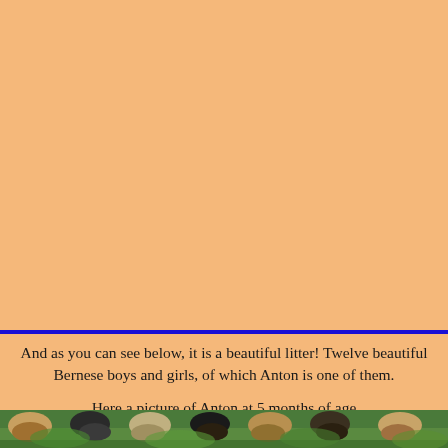And as you can see below, it is a beautiful litter! Twelve beautiful Bernese boys and girls, of which Anton is one of them.

Here a picture of Anton at 5 months of age
[Figure (photo): Photo strip at the bottom showing puppies/dogs outdoors in a grassy/garden setting]